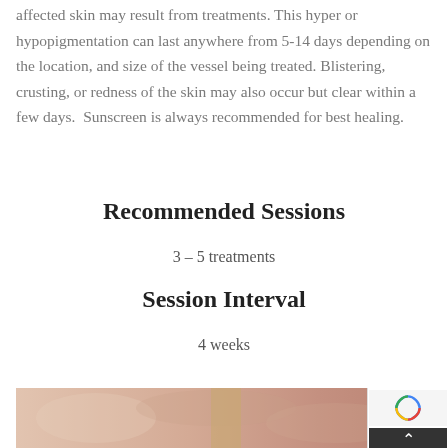affected skin may result from treatments. This hyper or hypopigmentation can last anywhere from 5-14 days depending on the location, and size of the vessel being treated. Blistering, crusting, or redness of the skin may also occur but clear within a few days.  Sunscreen is always recommended for best healing.
Recommended Sessions
3 – 5 treatments
Session Interval
4 weeks
[Figure (photo): Photo strip showing close-up skin treatment before/after image at the bottom of the page]